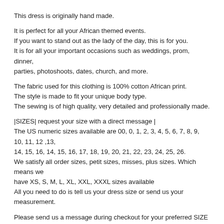This dress is originally hand made.
It is perfect for all your African themed events.
If you want to stand out as the lady of the day, this is for you.
It is for all your important occasions such as weddings, prom, dinner, parties, photoshoots, dates, church, and more.
The fabric used for this clothing is 100% cotton African print.
The style is made to fit your unique body type.
The sewing is of high quality, very detailed and professionally made.
|SIZES| request your size with a direct message |
The US numeric sizes available are 00, 0, 1, 2, 3, 4, 5, 6, 7, 8, 9, 10, 11, 12 ,13, 14, 15, 16, 14, 15, 16, 17, 18, 19, 20, 21, 22, 23, 24, 25, 26.
We satisfy all order sizes, petit sizes, misses, plus sizes. Which means we have XS, S, M, L, XL, XXL, XXXL sizes available
All you need to do is tell us your dress size or send us your measurement.
Please send us a message during checkout for your preferred SIZE and other VARIATIONS regarding color and fabric choice.
|MEASUREMENT| submit your measurement in inches |